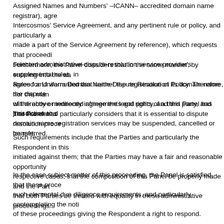Assigned Names and Numbers' –ICANN– accredited domain name registrar), agreed to Intercosmos' Service Agreement, and any pertinent rule or policy, and particularly as made a part of the Service Agreement by reference), which requests that proceedings selected administrative-dispute-resolution service provider's supplemental rules, in Rules for Uniform Domain Name Dispute Resolution Policy. Therefore, the dispute of the above mentioned agreements and policy, and this Panel has jurisdiction to d
Furthermore, the Panel considers that in the same manner, by entering into the ab agreed and warranted that neither the registration of its domain name nor the man will directly or indirectly infringe the legal rights of a third party, and that in order to domain name registration services may be suspended, cancelled or transferred.
The Panel also particularly considers that it is essential to dispute resolution proce be met.
Such requirements include that the Parties and particularly the Respondent in this initiated against them; that the Parties may have a fair and reasonable opportunity respective cases; that the composition of this Panel be properly made and the Part that both Parties be treated with equality in these administrative proceedings.
In the case subject matter of this proceeding, the Panel is satisfied that these proce such elemental due diligence requirements, and particularly contemplating the noti of these proceedings giving the Respondent a right to respond.
Paragraph◆4(a) of the Policy directs that the Complainant must prove the presenc domain name registered by the Respondent is identical or confusingly similar to a t has rights; and (ii) that the Respondent has no rights or legitimate interests in respe name has been registered and is being used in bad faith.
A. Identical or Confusingly Similar
This Panel finds that Respondent's domain name is confusingly similar to Complain Complainant's trademarks registration have been made significantly before the dat